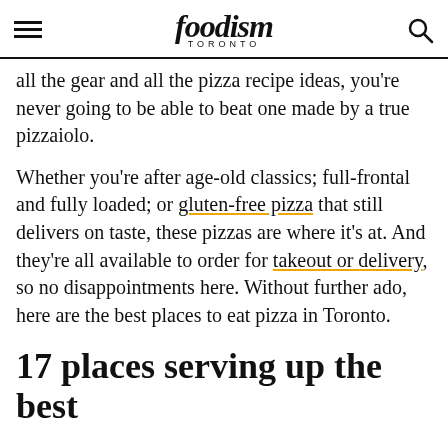foodism TORONTO
all the gear and all the pizza recipe ideas, you're never going to be able to beat one made by a true pizzaiolo.
Whether you're after age-old classics; full-frontal and fully loaded; or gluten-free pizza that still delivers on taste, these pizzas are where it's at. And they're all available to order for takeout or delivery, so no disappointments here. Without further ado, here are the best places to eat pizza in Toronto.
17 places serving up the best